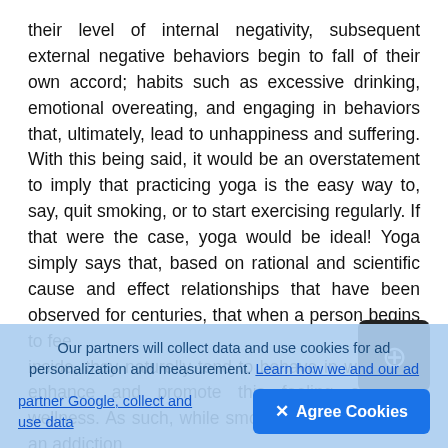their level of internal negativity, subsequent external negative behaviors begin to fall of their own accord; habits such as excessive drinking, emotional overeating, and engaging in behaviors that, ultimately, lead to unhappiness and suffering. With this being said, it would be an overstatement to imply that practicing yoga is the easy way to, say, quit smoking, or to start exercising regularly. If that were the case, yoga would be ideal! Yoga simply says that, based on rational and scientific cause and effect relationships that have been observed for centuries, that when a person begins to feel inside, they naturally tend to behave in ways that enhance and promote this feeling of inner wellness. As such, while smoking (for example) is an addiction
Our partners will collect data and use cookies for ad personalization and measurement. Learn how we and our ad partner Google, collect and use data
✕ Agree Cookies